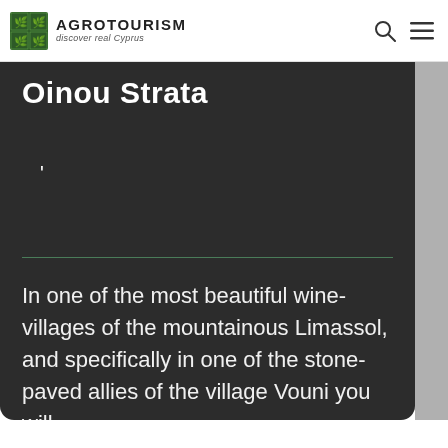AGROTOURISM discover real Cyprus
Oinou Strata
In one of the most beautiful wine-villages of the mountainous Limassol, and specifically in one of the stone-paved allies of the village Vouni you will
Read More